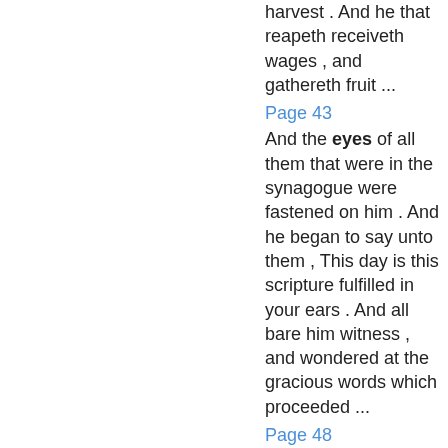harvest . And he that reapeth receiveth wages , and gathereth fruit ...
Page 43
And the eyes of all them that were in the synagogue were fastened on him . And he began to say unto them , This day is this scripture fulfilled in your ears . And all bare him witness , and wondered at the gracious words which proceeded ...
Page 48
And if thy right eye offend thee , pluck it out , and cast it from thee : for it is profitable for thee that one of thy members should perish , and not that thy whole ...